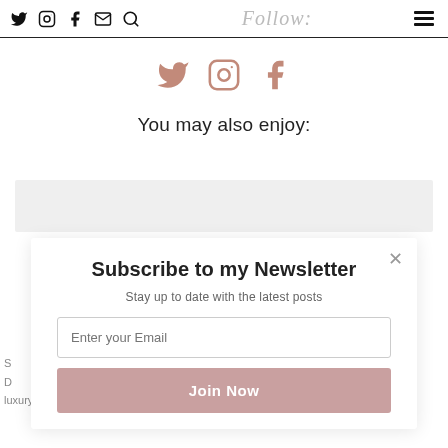Follow:
[Figure (infographic): Three colored social media icons: Twitter bird (dusty rose), Instagram camera (dusty rose), Facebook f (dusty rose)]
You may also enjoy:
[Figure (screenshot): Newsletter subscription modal with title 'Subscribe to my Newsletter', subtitle 'Stay up to date with the latest posts', email input field, and 'Join Now' button in dusty pink]